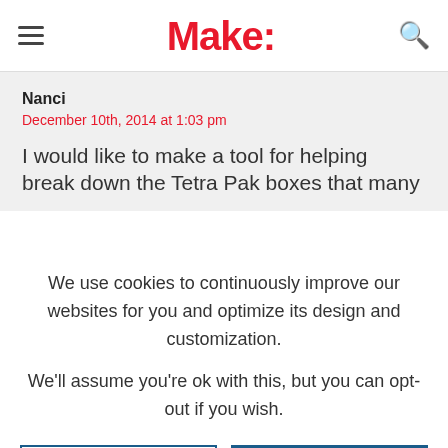Make:
Nanci
December 10th, 2014 at 1:03 pm

I would like to make a tool for helping break down the Tetra Pak boxes that many
We use cookies to continuously improve our websites for you and optimize its design and customization.
We'll assume you're ok with this, but you can opt-out if you wish.
CONFIGURE
ACCEPT